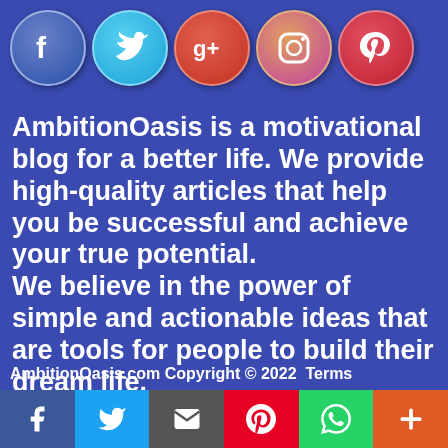[Figure (illustration): Five social media icon circles in a row: Facebook (dark blue with f), Twitter (light blue with bird), Google+ (red with g+), Instagram (gradient with camera), Pinterest (red with p)]
AmbitionOasis is a motivational blog for a better life. We provide high-quality articles that help you be successful and achieve your true potential.
We believe in the power of simple and actionable ideas that are tools for people to build their dream life.
AmbitionOasis.com  Copyright © 2022   Terms
[Figure (illustration): Bottom share bar with six share buttons: Facebook (blue), Twitter (light blue), Email/mail (dark grey), Pinterest (red), WhatsApp (green), More/plus (orange)]